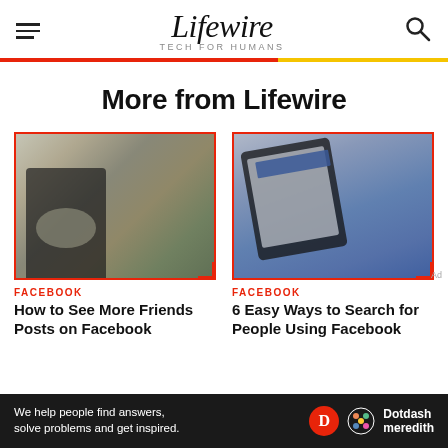Lifewire TECH FOR HUMANS
More from Lifewire
[Figure (photo): Woman smiling at laptop computer in office setting with plants]
FACEBOOK
How to See More Friends Posts on Facebook
[Figure (photo): Hand holding a tablet showing the Facebook website]
FACEBOOK
6 Easy Ways to Search for People Using Facebook
We help people find answers, solve problems and get inspired. Dotdash meredith